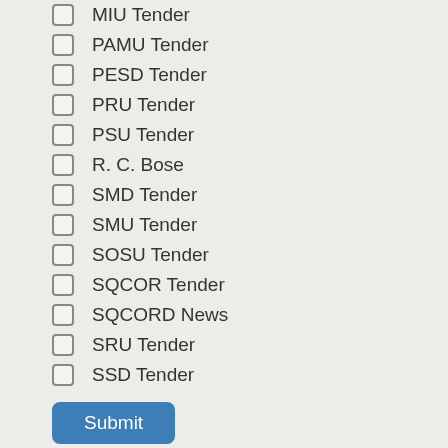MIU Tender
PAMU Tender
PESD Tender
PRU Tender
PSU Tender
R. C. Bose
SMD Tender
SMU Tender
SOSU Tender
SQCOR Tender
SQCORD News
SRU Tender
SSD Tender
Submit